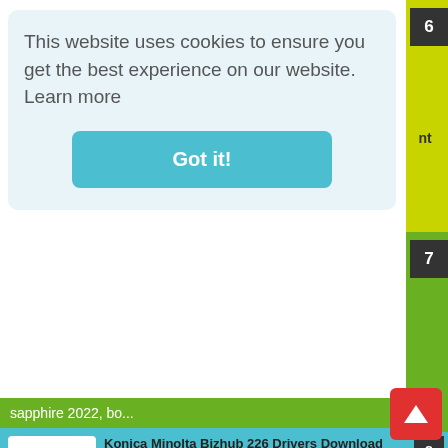This website uses cookies to ensure you get the best experience on our website.  Learn more
Got it!
sapphire 2022, bo...
Konica Minolta Bizhub 226 Drivers Download - Konica Minolta Bizhub 226 Drivers Download  - Tags: konica minolta bizhub 226 driver download windows 10 64 bit, konica minolta bizhub 226 d...
Smadav anti virus 2017 Free Software Download - Smadav antivirus 2017 Free Software Download - SmadAV 2017 provides decent antivirus protection, even if its scans take a while to fin...
HP Spectre x360 13 Drivers Download - HP Spectre x360 13 Drivers Download  - Tags: hp spectre x360 13 drivers, hp spectre x360 convertible 13 drivers, hp